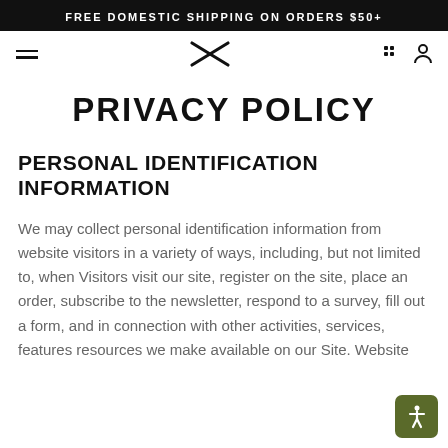FREE DOMESTIC SHIPPING ON ORDERS $50+
[Figure (logo): X crossed lines logo in black, navigation bar with hamburger menu, cart and profile icons]
PRIVACY POLICY
PERSONAL IDENTIFICATION INFORMATION
We may collect personal identification information from website visitors in a variety of ways, including, but not limited to, when Visitors visit our site, register on the site, place an order, subscribe to the newsletter, respond to a survey, fill out a form, and in connection with other activities, services, features resources we make available on our Site. Website...